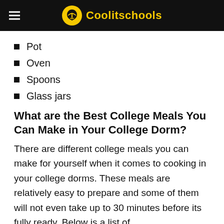Coolitschools
Pot
Oven
Spoons
Glass jars
What are the Best College Meals You Can Make in Your College Dorm?
There are different college meals you can make for yourself when it comes to cooking in your college dorms. These meals are relatively easy to prepare and some of them will not even take up to 30 minutes before its fully ready. Below is a list of